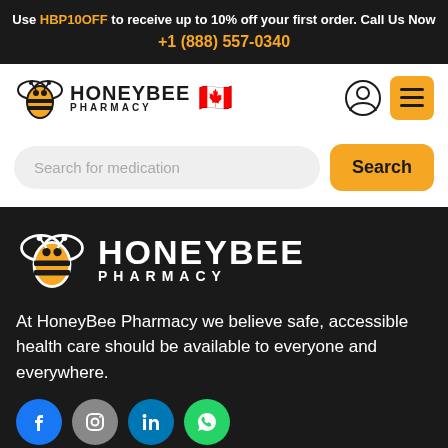Use HBP10OFF to receive up to 10% off your first order. Call Us Now +1 (888) 557-0340
[Figure (logo): HoneyBee Pharmacy logo with bee icon and Canadian flag emoji]
Search for medication
[Figure (logo): HoneyBee Pharmacy large white logo on dark background]
At HoneyBee Pharmacy we believe safe, accessible health care should be available to everyone and everywhere.
[Figure (infographic): Social media icons row: Facebook, Instagram, LinkedIn, WhatsApp]